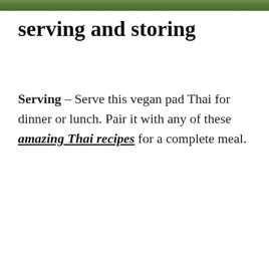[Figure (photo): Partial image of food/greens visible at the very top of the page as a cropped strip]
serving and storing
Serving – Serve this vegan pad Thai for dinner or lunch. Pair it with any of these amazing Thai recipes for a complete meal.